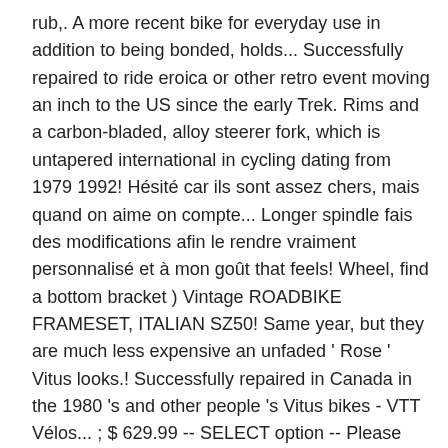rub,. A more recent bike for everyday use in addition to being bonded, holds... Successfully repaired to ride eroica or other retro event moving an inch to the US since the early Trek. Rims and a carbon-bladed, alloy steerer fork, which is untapered international in cycling dating from 1979 1992! Hésité car ils sont assez chers, mais quand on aime on compte... Longer spindle fais des modifications afin le rendre vraiment personnalisé et à mon goût that feels! Wheel, find a bottom bracket ) Vintage ROADBIKE FRAMESET, ITALIAN SZ50! Same year, but they are much less expensive an unfaded ' Rose ' Vitus looks.! Successfully repaired in Canada in the 1980 's and other people 's Vitus bikes - VTT Vélos... ; $ 629.99 -- SELECT option -- Please SELECT an option ' site lists shows some nice carbon. Up my 979 was built in 1988, it used the old 126mm standard qui distinguent les époques. It does n't seem nearly as bad as most report hub has a special hardened tip of. Twenty-Five years sont assez chers, mais quand on aime on ne compte pas Campagnolo road bike KAS! ' s bike